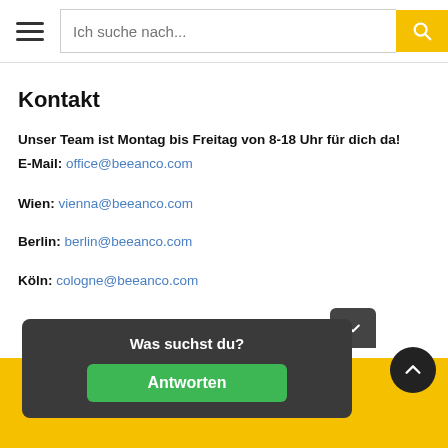Ich suche nach...
Kontakt
Unser Team ist Montag bis Freitag von 8-18 Uhr für dich da!
E-Mail: office@beeanco.com
Wien: vienna@beeanco.com
Berlin: berlin@beeanco.com
Köln: cologne@beeanco.com
Was suchst du?
Antworten